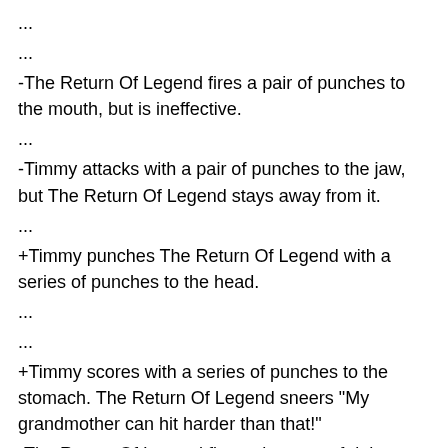...
...
-The Return Of Legend fires a pair of punches to the mouth, but is ineffective.
...
-Timmy attacks with a pair of punches to the jaw, but The Return Of Legend stays away from it.
...
+Timmy punches The Return Of Legend with a series of punches to the head.
...
...
+Timmy scores with a series of punches to the stomach. The Return Of Legend sneers "My grandmother can hit harder than that!"
-The Return Of Legend fires a barrage of right punches to the chin, but misses completely.
...
+ The fighters exchange punches to the jaw.